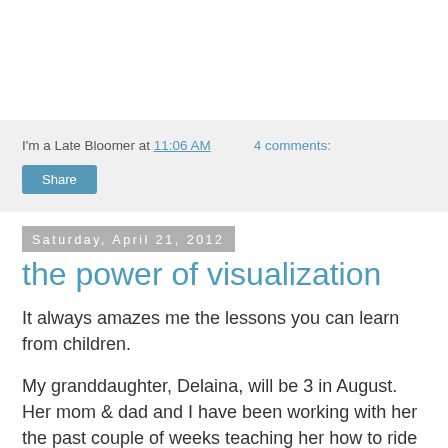I'm a Late Bloomer at 11:06 AM    4 comments:
Share
Saturday, April 21, 2012
the power of visualization
It always amazes me the lessons you can learn from children.
My granddaughter, Delaina, will be 3 in August.  Her mom & dad and I have been working with her the past couple of weeks teaching her how to ride her tricycle.  I even told her that when she learned how to ride the tricycle that I would buy her a Big Wheel.  Didn't seem to matter, she just wasn't